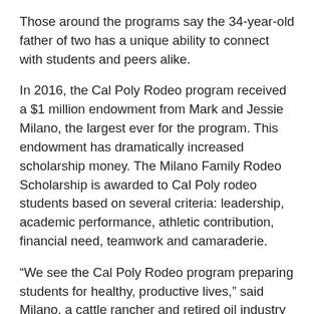Those around the programs say the 34-year-old father of two has a unique ability to connect with students and peers alike.
In 2016, the Cal Poly Rodeo program received a $1 million endowment from Mark and Jessie Milano, the largest ever for the program. This endowment has dramatically increased scholarship money. The Milano Family Rodeo Scholarship is awarded to Cal Poly rodeo students based on several criteria: leadership, academic performance, athletic contribution, financial need, teamwork and camaraderie.
“We see the Cal Poly Rodeo program preparing students for healthy, productive lives,” said Milano, a cattle rancher and retired oil industry executive. “We wanted to support that by helping worthy students who might otherwise not be able to attend.”
“The Milanos’ gift has taken our program from offering